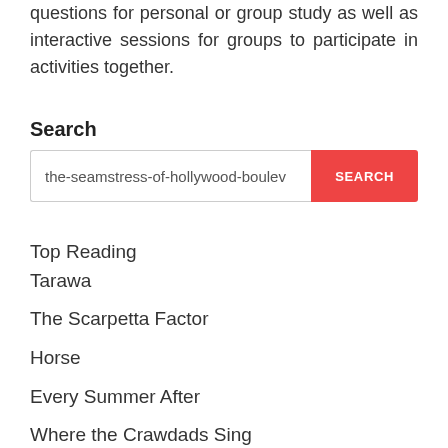questions for personal or group study as well as interactive sessions for groups to participate in activities together.
Search
the-seamstress-of-hollywood-boulevard [search input]
Top Reading
Tarawa
The Scarpetta Factor
Horse
Every Summer After
Where the Crawdads Sing